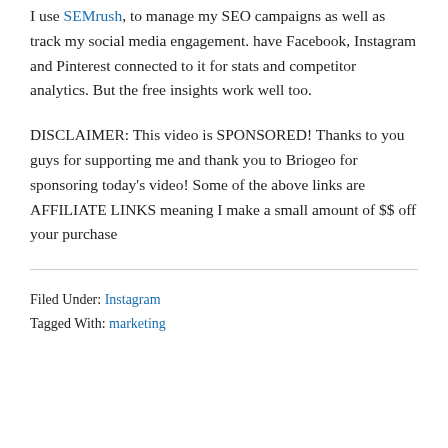I use SEMrush, to manage my SEO campaigns as well as track my social media engagement. have Facebook, Instagram and Pinterest connected to it for stats and competitor analytics. But the free insights work well too.
DISCLAIMER: This video is SPONSORED! Thanks to you guys for supporting me and thank you to Briogeo for sponsoring today's video! Some of the above links are AFFILIATE LINKS meaning I make a small amount of $$ off your purchase
Filed Under: Instagram
Tagged With: marketing